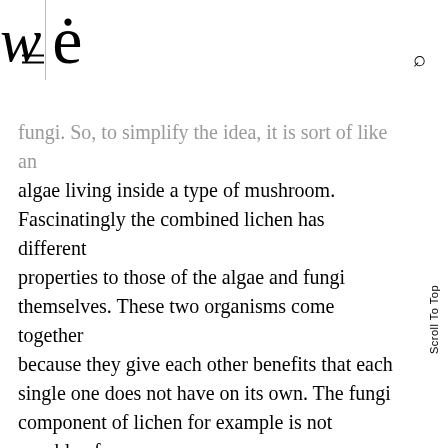w é (logo with hamburger menu and search icon)
fungi. So, to simplify the idea, it is sort of like an algae living inside a type of mushroom. Fascinatingly the combined lichen has different properties to those of the algae and fungi themselves. These two organisms come together because they give each other benefits that each single one does not have on its own. The fungi component of lichen for example is not capable of performing photosynthesis like plants do, by harvesting light energy from the sun to generate